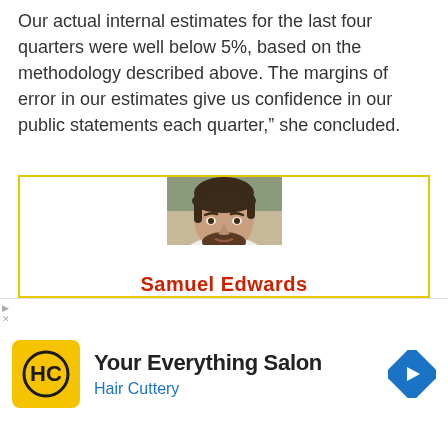Our actual internal estimates for the last four quarters were well below 5%, based on the methodology described above. The margins of error in our estimates give us confidence in our public statements each quarter,” she concluded.
[Figure (photo): Portrait photo of Samuel Edwards, a man with short dark hair and beard wearing a white shirt, shown from shoulders up]
Samuel Edwards
[Figure (other): Advertisement for Hair Cuttery salon with yellow HC logo, text 'Your Everything Salon Hair Cuttery' and a blue navigation arrow icon]